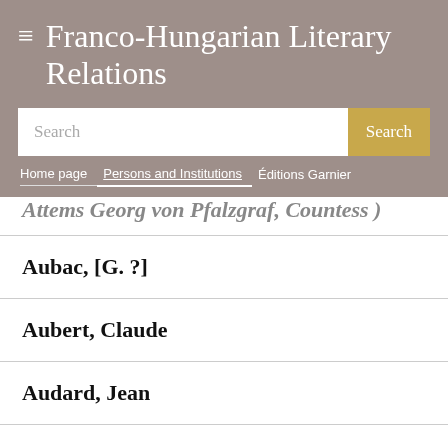Franco-Hungarian Literary Relations
Search
Home page | Persons and Institutions | Éditions Garnier
Aubac, [G. ?]
Aubert, Claude
Audard, Jean
Auden, Wystan Hugh